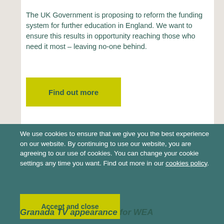The UK Government is proposing to reform the funding system for further education in England. We want to ensure this results in opportunity reaching those who need it most – leaving no-one behind.
Find out more
We use cookies to ensure that we give you the best experience on our website. By continuing to use our website, you are agreeing to our use of cookies. You can change your cookie settings any time you want. Find out more in our cookies policy.
Accept and close
Granada TV appearance for WEA